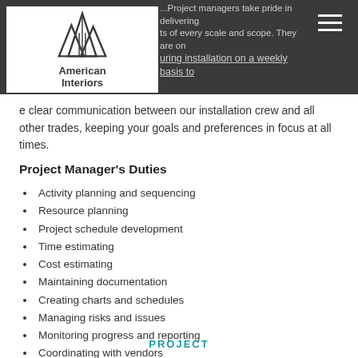...Project managers take pride in delivering projects of every scale and scope. They are on ...ring installation on a weekly basis to ...e clear communication between our installation crew and all other trades, keeping your goals and preferences in focus at all times.
[Figure (logo): American Interiors logo with triangular mountain/peaks graphic above text reading American Interiors]
...e clear communication between our installation crew and all other trades, keeping your goals and preferences in focus at all times.
Project Manager's Duties
Activity planning and sequencing
Resource planning
Project schedule development
Time estimating
Cost estimating
Maintaining documentation
Creating charts and schedules
Managing risks and issues
Monitoring progress and reporting
Coordinating with vendors
Controlling quality
PROJECT